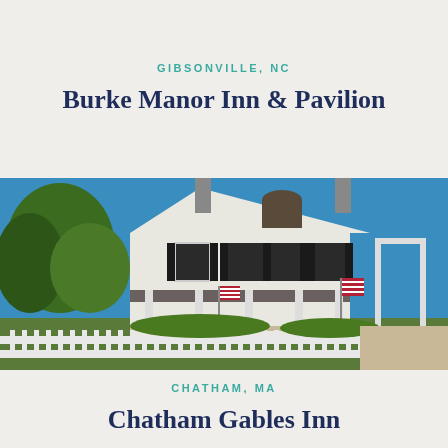GIBSONVILLE, NC
Burke Manor Inn & Pavilion
[Figure (photo): Exterior photo of a large white colonial-style inn with black shutters, a pediment with arched window, wrap-around porch, American flags displayed, white picket fence in foreground, lush green trees and garden plantings, blue sky background]
CHATHAM, MA
Chatham Gables Inn